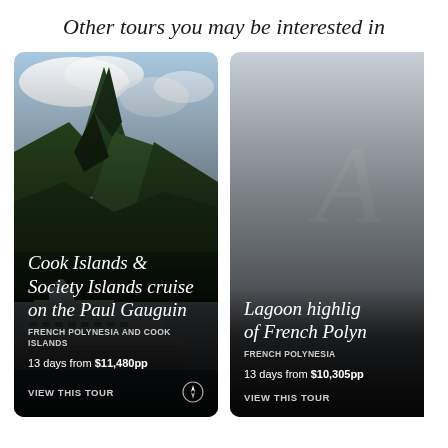Other tours you may be interested in
[Figure (photo): Tour card: Cook Islands & Society Islands cruise on the Paul Gauguin. Background photo of a dramatic green volcanic mountain peak with blue sky and a cruise ship. Text overlay: Cook Islands & Society Islands cruise on the Paul Gauguin. FRENCH POLYNESIA AND COOK ISLANDS. 13 days from $11,480pp. VIEW THIS TOUR.]
[Figure (photo): Tour card (partially visible): Lagoon highlights of French Polynesia. Background: gray/foggy sky. Text overlay: Lagoon highlig... of French Polyn... FRENCH POLYNESIA. 13 days from $10,305pp. VIEW THIS TOUR.]